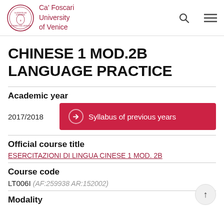Ca' Foscari University of Venice
CHINESE 1 MOD.2B LANGUAGE PRACTICE
Academic year
2017/2018
Syllabus of previous years
Official course title
ESERCITAZIONI DI LINGUA CINESE 1 MOD. 2B
Course code
LT006I (AF:259938 AR:152002)
Modality